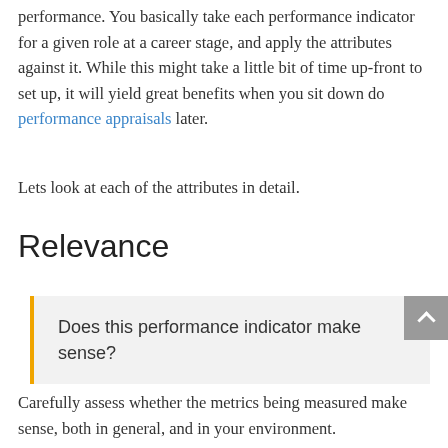performance. You basically take each performance indicator for a given role at a career stage, and apply the attributes against it. While this might take a little bit of time up-front to set up, it will yield great benefits when you sit down do performance appraisals later.
Lets look at each of the attributes in detail.
Relevance
Does this performance indicator make sense?
Carefully assess whether the metrics being measured make sense, both in general, and in your environment.